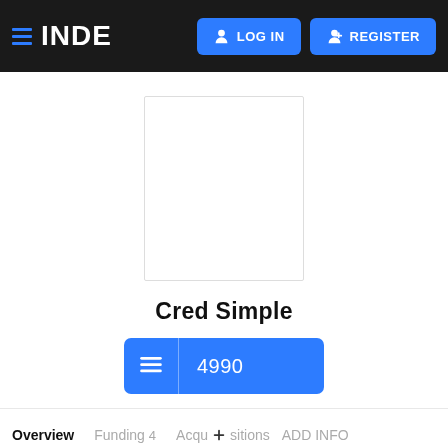INDE  LOG IN  REGISTER
[Figure (photo): White/empty profile image placeholder with light gray border]
Cred Simple
4990
Overview  Funding 4  Acquisitions  ADD INFO
LATEST FUNDING  SHOW ALL